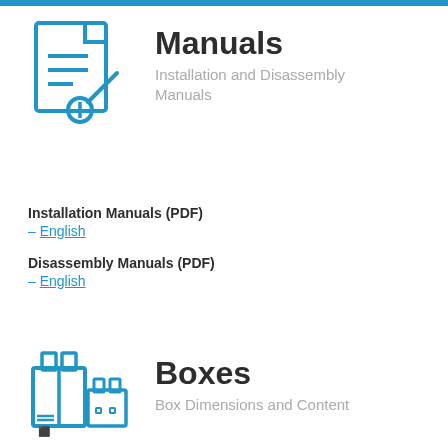[Figure (illustration): Blue line-art icon of a document/manual with lines and a wrench overlay, representing installation manuals]
Manuals
Installation and Disassembly Manuals
Installation Manuals (PDF)
– English
Disassembly Manuals (PDF)
– English
[Figure (illustration): Blue line-art icon of shipping boxes, representing box dimensions and content]
Boxes
Box Dimensions and Content